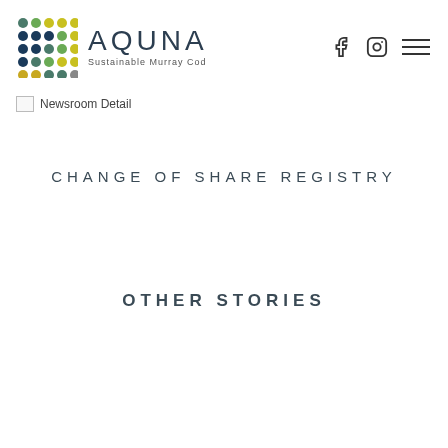AQUNA Sustainable Murray Cod
[Figure (logo): Newsroom Detail broken image icon with text label]
CHANGE OF SHARE REGISTRY
OTHER STORIES